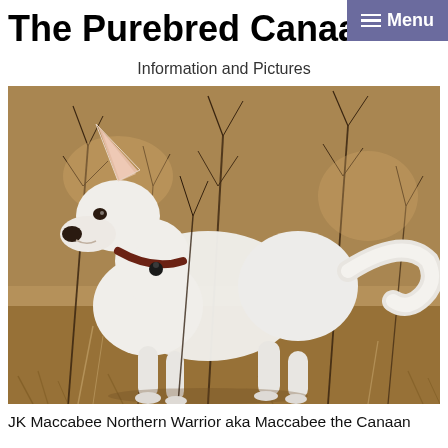The Purebred Canaan Dog
Information and Pictures
[Figure (photo): A white Canaan dog with a red collar and tag standing alertly among bare winter shrubs and dried grass, looking to the left, with its curled tail visible on the right side.]
JK Maccabee Northern Warrior aka Maccabee the Canaan